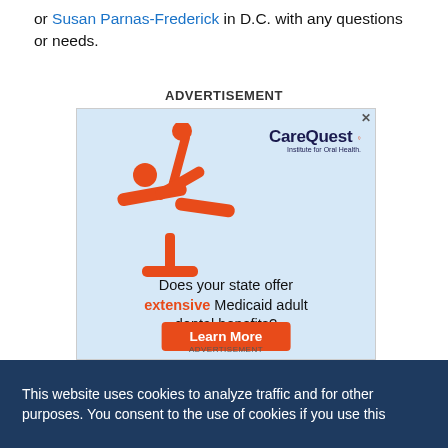or Susan Parnas-Frederick in D.C. with any questions or needs.
ADVERTISEMENT
[Figure (illustration): CareQuest Institute for Oral Health advertisement with a dental patient icon (orange stick figure reclining in dental chair with dentist), text 'Does your state offer extensive Medicaid adult dental benefits?' and an orange 'Learn More' button on a light blue background.]
This website uses cookies to analyze traffic and for other purposes. You consent to the use of cookies if you use this